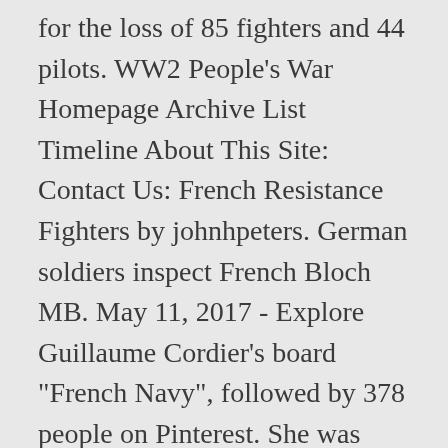for the loss of 85 fighters and 44 pilots. WW2 People's War Homepage Archive List Timeline About This Site: Contact Us: French Resistance Fighters by johnhpeters. German soldiers inspect French Bloch MB. May 11, 2017 - Explore Guillaume Cordier's board "French Navy", followed by 378 people on Pinterest. She was present at the fall of Chartres, on August 23, 1944, and at the Liberation of Paris. “I saw three French Dewoitines diving upon the field with guns blazing,” Maj. Harrison Thyng recalled. It is intended to be a sixth-generation fighter. KNIGHT FLIGHT VIDEO 4,925,578 views Pierre Poupart] bailed out at 5,000 feet. Almost everyone would recognize the Spitfire, P-51